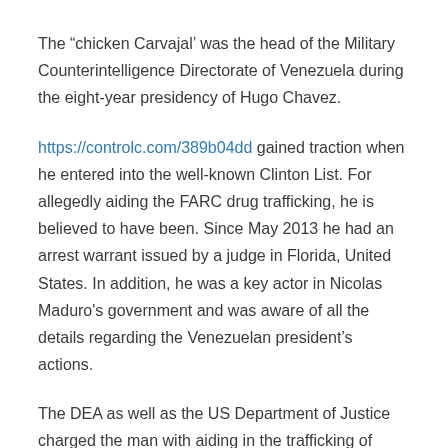The “chicken Carvajal’ was the head of the Military Counterintelligence Directorate of Venezuela during the eight-year presidency of Hugo Chavez.
https://controlc.com/389b04dd gained traction when he entered into the well-known Clinton List. For allegedly aiding the FARC drug trafficking, he is believed to have been. Since May 2013 he had an arrest warrant issued by a judge in Florida, United States. In addition, he was a key actor in Nicolas Maduro's government and was aware of all the details regarding the Venezuelan president’s actions.
The DEA as well as the US Department of Justice charged the man with aiding in the trafficking of cocaine in his country.